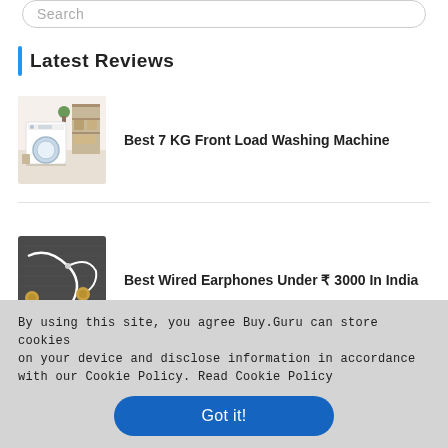Search
Latest Reviews
[Figure (photo): A white front-load washing machine in a laundry room with shelves and baskets]
Best 7 KG Front Load Washing Machine
[Figure (photo): Wired earphones with cable on a dark fabric background]
Best Wired Earphones Under ₹ 3000 In India
By using this site, you agree Buy.Guru can store cookies on your device and disclose information in accordance with our Cookie Policy. Read Cookie Policy
Got it!